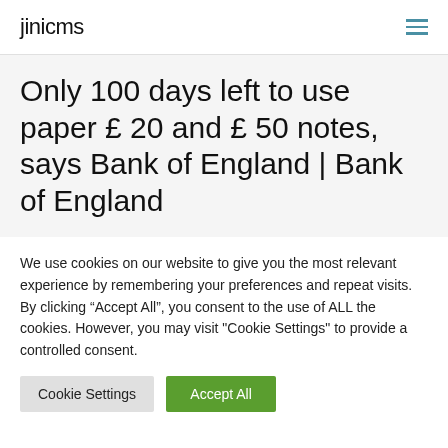jinicms
Only 100 days left to use paper £ 20 and £ 50 notes, says Bank of England | Bank of England
We use cookies on our website to give you the most relevant experience by remembering your preferences and repeat visits. By clicking “Accept All”, you consent to the use of ALL the cookies. However, you may visit "Cookie Settings" to provide a controlled consent.